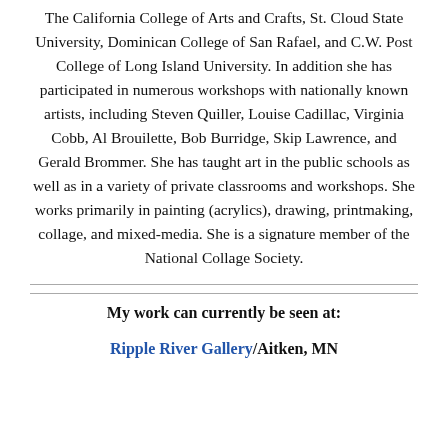The California College of Arts and Crafts, St. Cloud State University, Dominican College of San Rafael, and C.W. Post College of Long Island University. In addition she has participated in numerous workshops with nationally known artists, including Steven Quiller, Louise Cadillac, Virginia Cobb, Al Brouilette, Bob Burridge, Skip Lawrence, and Gerald Brommer. She has taught art in the public schools as well as in a variety of private classrooms and workshops. She works primarily in painting (acrylics), drawing, printmaking, collage, and mixed-media. She is a signature member of the National Collage Society.
My work can currently be seen at:
Ripple River Gallery/Aitken, MN